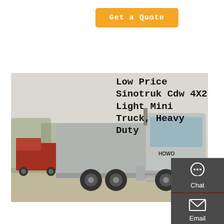Get a Quote
[Figure (photo): Silver/grey Sinotruk heavy duty truck with 6x4 configuration, parked outdoors on a paved area]
Low Price Sinotruk Cdw 4X2 Light Mini Truck, Heavy Duty
Description of Low price SINOTRUK CDW 4x2 Light mini truck, heavy duty Dump Truck for Africa countries. Howo dump truck unloads cargo by hydraulic or mechanical lifting. Adopting
[Figure (infographic): Dark grey sidebar with Chat (headset icon), Email (envelope icon), Contact (speech bubble icon), and Top (up arrow icon) buttons]